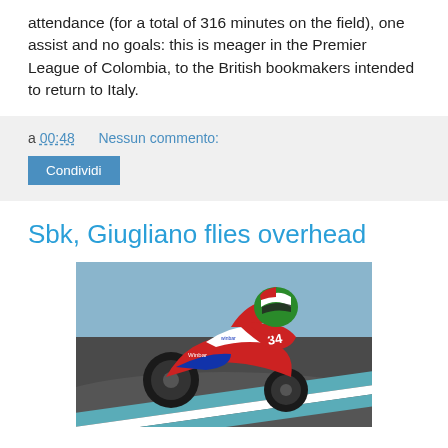attendance (for a total of 316 minutes on the field), one assist and no goals: this is meager in the Premier League of Colombia, to the British bookmakers intended to return to Italy.
a 00:48   Nessun commento:
Condividi
Sbk, Giugliano flies overhead
[Figure (photo): Motorcycle racer #34 leaning into a corner on a racing track, wearing Italian flag-colored helmet, on a red and white bike with sponsor logos, with blue and white track curbing visible]